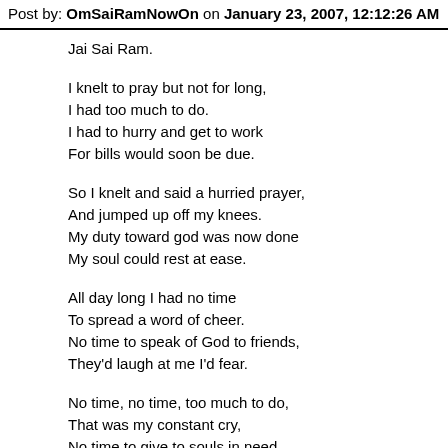Post by: OmSaiRamNowOn on January 23, 2007, 12:12:26 AM
Jai Sai Ram.

I knelt to pray but not for long,
I had too much to do.
I had to hurry and get to work
For bills would soon be due.

So I knelt and said a hurried prayer,
And jumped up off my knees.
My duty toward god was now done
My soul could rest at ease.

All day long I had no time
To spread a word of cheer.
No time to speak of God to friends,
They'd laugh at me I'd fear.

No time, no time, too much to do,
That was my constant cry,
No time to give to souls in need
But at last the time the time to die.

I went before the Lord,
I came, I stood with downcast eyes.
For in his hands God held a book;
It was the book of life.

God looked into his book and said